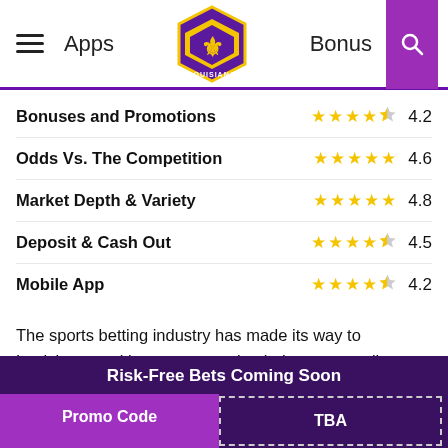Apps | Louisiana Sharp | Bonus
| Category | Stars | Score |
| --- | --- | --- |
| Bonuses and Promotions | ★★★★½ | 4.2 |
| Odds Vs. The Competition | ★★★★★ | 4.6 |
| Market Depth & Variety | ★★★★★ | 4.8 |
| Deposit & Cash Out | ★★★★½ | 4.5 |
| Mobile App | ★★★★½ | 4.2 |
The sports betting industry has made its way to Louisiana, and bettors can make their wagers online or in person. While a handful of sportsbooks are now live and offering promo codes for bonuses, more operators, such as ClutchBet Sportsbook, are
Risk-Free Bets Coming Soon | Promo Code | TBA